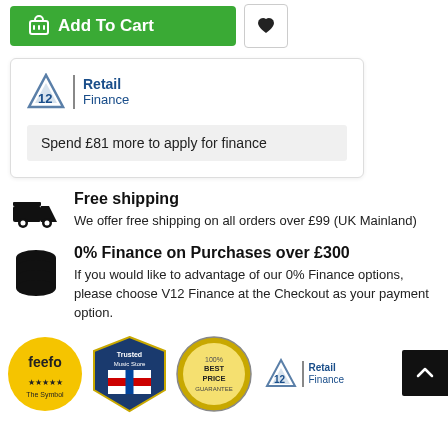[Figure (other): Green Add To Cart button with shopping cart icon, and a wishlist heart button]
[Figure (other): V12 Retail Finance logo box with message: Spend £81 more to apply for finance]
Spend £81 more to apply for finance
Free shipping
We offer free shipping on all orders over £99 (UK Mainland)
0% Finance on Purchases over £300
If you would like to advantage of our 0% Finance options, please choose V12 Finance at the Checkout as your payment option.
[Figure (other): Four trust badge logos: feefo 5-star, Trusted Music Store, 100% Best Price Guarantee, V12 Retail Finance]